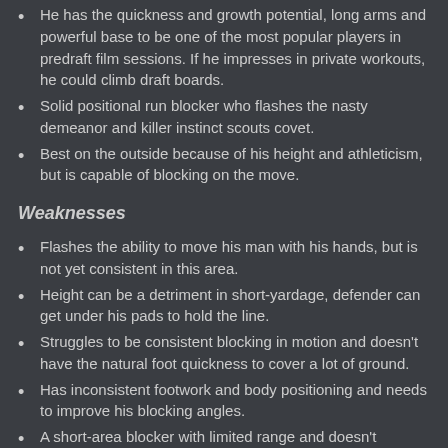He has the quickness and growth potential, long arms and powerful base to be one of the most popular players in predraft film sessions. If he impresses in private workouts, he could climb draft boards.
Solid positional run blocker who flashes the nasty demeanor and killer instinct scouts covet.
Best on the outside because of his height and athleticism, but is capable of blocking on the move.
Weaknesses
Flashes the ability to move his man with his hands, but is not yet consistent in this area.
Height can be a detriment in short-yardage, defender can get under his pads to hold the line.
Struggles to be consistent blocking in motion and doesn't have the natural foot quickness to cover a lot of ground.
Has inconsistent footwork and body positioning and needs to improve his blocking angles.
A short-area blocker with limited range and doesn't